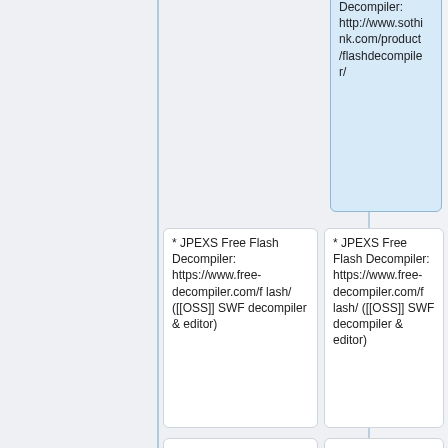* Decompiler: http://www.sothink.com/product/flashdecompiler/
* JPEXS Free Flash Decompiler: https://www.free-decompiler.com/flash/ ([[OSS]] SWF decompiler & editor)
* JPEXS Free Flash Decompiler: https://www.free-decompiler.com/flash/ ([[OSS]] SWF decompiler & editor)
* FlashProbe: http://www.flashprobe.com/
* FlashProbe: http://www.flashprobe.com/
* FLA-Exporter: http://www.flash-to-html5.com/Google-Swiffy-